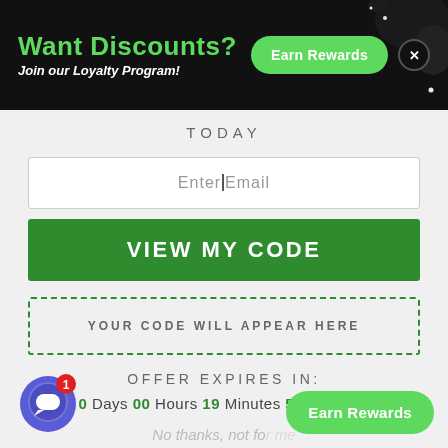Want Discounts?
Join our Loyalty Program!
Earn Rewards
TODAY
Enter|Email
VIEW MY CODE
YOUR CODE WILL APPEAR HERE
OFFER EXPIRES IN:
0 Days 00 Hours 19 Minutes 56 Seconds
No thanks, not for me
Earn Rewards